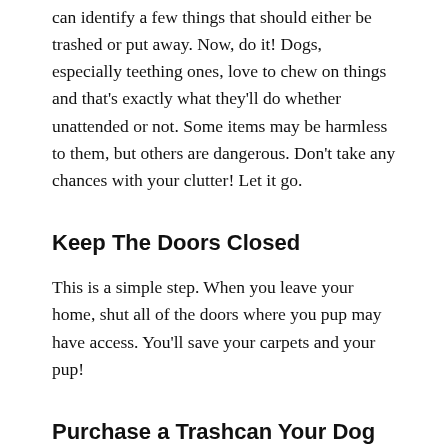can identify a few things that should either be trashed or put away. Now, do it! Dogs, especially teething ones, love to chew on things and that's exactly what they'll do whether unattended or not. Some items may be harmless to them, but others are dangerous. Don't take any chances with your clutter! Let it go.
Keep The Doors Closed
This is a simple step. When you leave your home, shut all of the doors where you pup may have access. You'll save your carpets and your pup!
Purchase a Trashcan Your Dog Can't Open
Surprise...dogs love trash. When you buy a dog, you'll learn this and hopefully not the hard way! The very scents